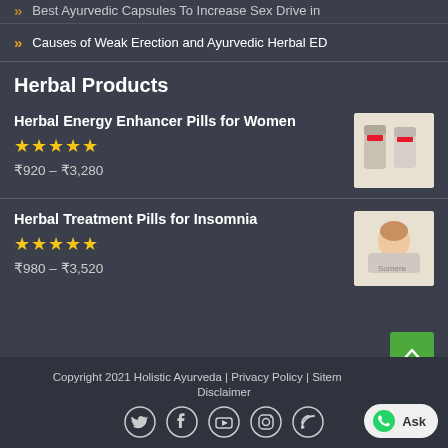» Best Ayurvedic Capsules To Increase Sex Drive in
» Causes of Weak Erection and Ayurvedic Herbal ED
Herbal Products
Herbal Energy Enhancer Pills for Women ★★★★★ ₹920 – ₹3,280
[Figure (photo): Product image for Herbal Energy Enhancer Pills for Women]
Herbal Treatment Pills for Insomnia ★★★★★ ₹980 – ₹3,520
[Figure (photo): Product image for Herbal Treatment Pills for Insomnia]
Copyright 2021 Holistic Ayurveda | Privacy Policy | Sitemap | Disclaimer
[Figure (other): Social media icons: Twitter, Facebook, YouTube, Instagram, RSS]